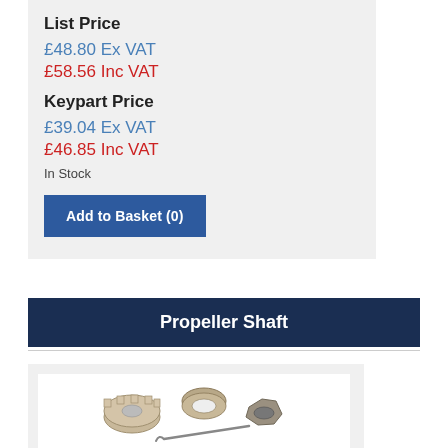List Price
£48.80 Ex VAT
£58.56 Inc VAT
Keypart Price
£39.04 Ex VAT
£46.85 Inc VAT
In Stock
Add to Basket (0)
Propeller Shaft
[Figure (photo): Propeller shaft hardware kit including castellated nut, washer, nut, and split pin]